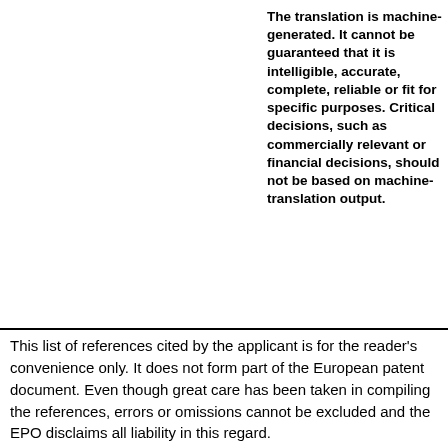The translation is machine-generated. It cannot be guaranteed that it is intelligible, accurate, complete, reliable or fit for specific purposes. Critical decisions, such as commercially relevant or financial decisions, should not be based on machine-translation output.
Translate this text into [Select language]
[Figure (logo): Patent Translate logo - red badge with arrows icon, text 'patenttranslate', and subtitle 'powered by EPO and Google']
This list of references cited by the applicant is for the reader's convenience only. It does not form part of the European patent document. Even though great care has been taken in compiling the references, errors or omissions cannot be excluded and the EPO disclaims all liability in this regard.